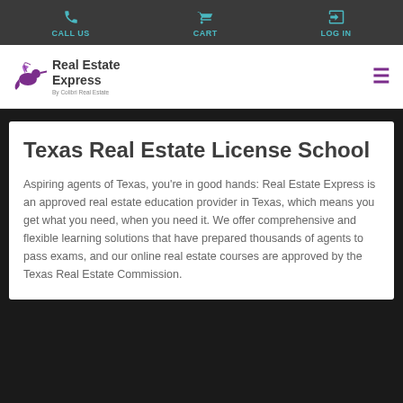CALL US   CART   LOG IN
[Figure (logo): Real Estate Express hummingbird logo with text 'Real Estate Express By Colibri Real Estate']
Texas Real Estate License School
Aspiring agents of Texas, you're in good hands: Real Estate Express is an approved real estate education provider in Texas, which means you get what you need, when you need it. We offer comprehensive and flexible learning solutions that have prepared thousands of agents to pass exams, and our online real estate courses are approved by the Texas Real Estate Commission.